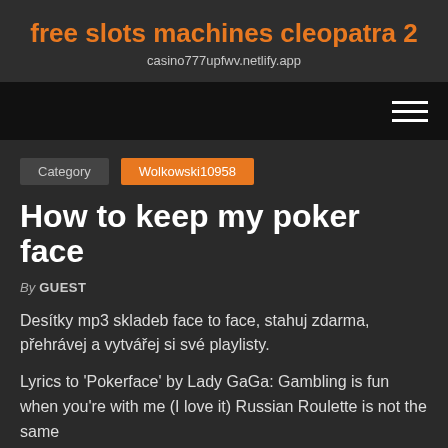free slots machines cleopatra 2
casino777upfwv.netlify.app
Category  Wolkowski10958
How to keep my poker face
By GUEST
Desítky mp3 skladeb face to face, stahuj zdarma, přehrávej a vytvářej si své playlisty.
Lyrics to 'Pokerface' by Lady GaGa: Gambling is fun when you're with me (I love it) Russian Roulette is not the same